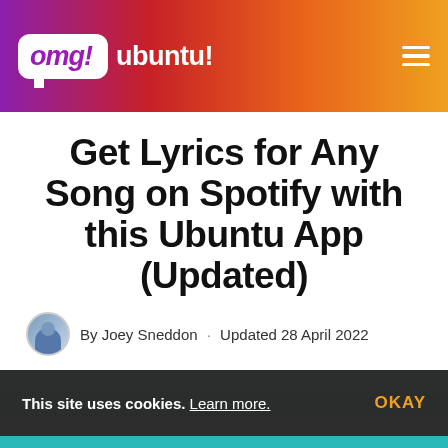omg! ubuntu!
Get Lyrics for Any Song on Spotify with this Ubuntu App (Updated)
By Joey Sneddon · Updated 28 April 2022
[Figure (screenshot): Partial screenshot of article content showing an app interface]
This site uses cookies. Learn more. OKAY